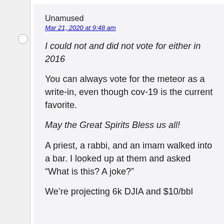Unamused
Mar 21, 2020 at 9:48 am
I could not and did not vote for either in 2016
You can always vote for the meteor as a write-in, even though cov-19 is the current favorite.
May the Great Spirits Bless us all!
A priest, a rabbi, and an imam walked into a bar. I looked up at them and asked “What is this? A joke?”
We’re projecting 6k DJIA and $10/bbl